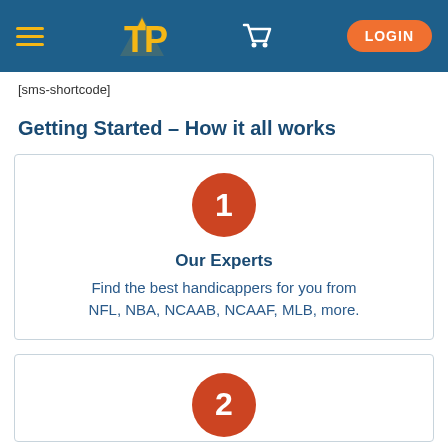[navigation bar with hamburger menu, TP logo, cart icon, LOGIN button]
[sms-shortcode]
Getting Started – How it all works
[Figure (infographic): Step 1 card with red circle numbered 1, title 'Our Experts', text 'Find the best handicappers for you from NFL, NBA, NCAAB, NCAAF, MLB, more.']
[Figure (infographic): Step 2 card (partially visible) with red circle numbered 2]